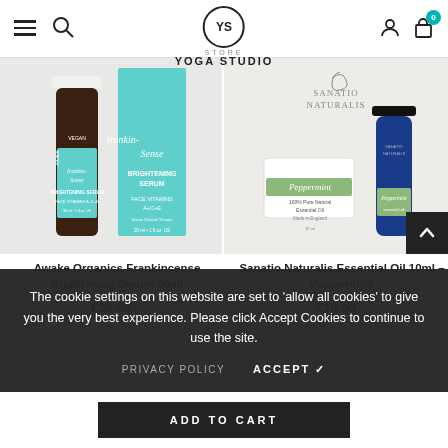Yoga Studio Store — navigation header with logo, search, user, cart icons
[Figure (photo): Awake Organics Frankincense Brightening Serum 30ml product photo — dark glass bottle and teal/mint box packaging]
Awake Organics Frankincense Brightening Serum 30ml
£35.99
[Figure (photo): Sanatio Naturalis Essential Oil 10ml – Peppermint product photo — blue glass bottle and white container with green label]
Sanatio Naturalis Essential Oil 10ml – Peppermint
£10.00
The cookie settings on this website are set to 'allow all cookies' to give you the very best experience. Please click Accept Cookies to continue to use the site.
PRIVACY POLICY   ACCEPT ✓
ADD TO CART